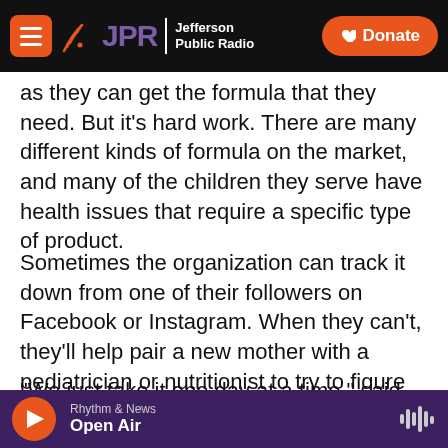JPR Jefferson Public Radio | Donate
as they can get the formula that they need. But it's hard work. There are many different kinds of formula on the market, and many of the children they serve have health issues that require a specific type of product.
Sometimes the organization can track it down from one of their followers on Facebook or Instagram. When they can't, they'll help pair a new mother with a pediatrician or nutritionist to try to figure out a temporary alternative.
"We just take it one day at a time," said Frear. "Each
Rhythm & News | Open Air